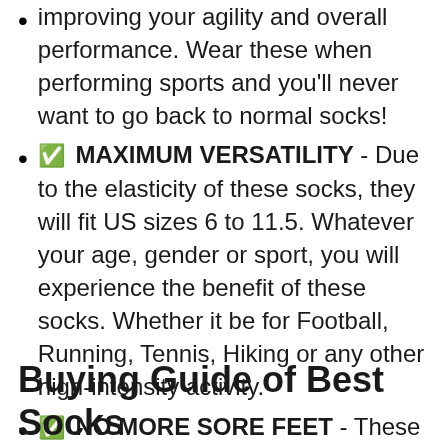improving your agility and overall performance. Wear these when performing sports and you'll never want to go back to normal socks!
✅ MAXIMUM VERSATILITY - Due to the elasticity of these socks, they will fit US sizes 6 to 11.5. Whatever your age, gender or sport, you will experience the benefit of these socks. Whether it be for Football, Running, Tennis, Hiking or any other high-intensity activity.
✅ NO MORE SORE FEET - These socks will eliminate post-exercise sore feet and blisters by vastly reducing the amount of rubbing and slipping your feet experience during exercise.
Buying Guide of Best Socks